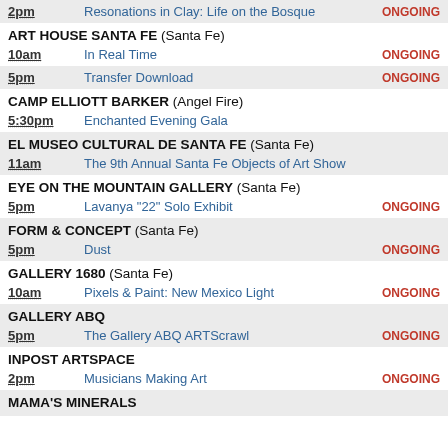2pm — Resonations in Clay: Life on the Bosque — ONGOING
ART HOUSE SANTA FE (Santa Fe)
10am — In Real Time — ONGOING
5pm — Transfer Download — ONGOING
CAMP ELLIOTT BARKER (Angel Fire)
5:30pm — Enchanted Evening Gala
EL MUSEO CULTURAL DE SANTA FE (Santa Fe)
11am — The 9th Annual Santa Fe Objects of Art Show
EYE ON THE MOUNTAIN GALLERY (Santa Fe)
5pm — Lavanya "22" Solo Exhibit — ONGOING
FORM & CONCEPT (Santa Fe)
5pm — Dust — ONGOING
GALLERY 1680 (Santa Fe)
10am — Pixels & Paint: New Mexico Light — ONGOING
GALLERY ABQ
5pm — The Gallery ABQ ARTScrawl — ONGOING
INPOST ARTSPACE
2pm — Musicians Making Art — ONGOING
MAMA'S MINERALS